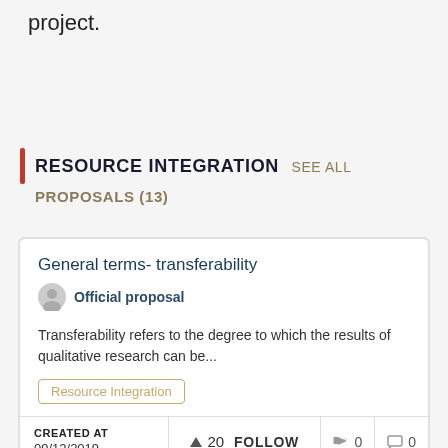project.
RESOURCE INTEGRATION SEE ALL PROPOSALS (13)
General terms- transferability
Official proposal
Transferability refers to the degree to which the results of qualitative research can be...
Resource Integration
CREATED AT
09/12/2019
▲ 20   FOLLOW
🔇 0
💬 0